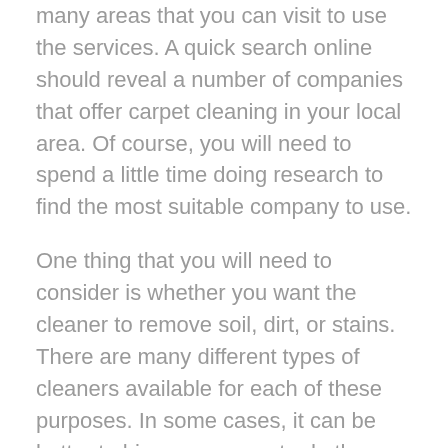many areas that you can visit to use the services. A quick search online should reveal a number of companies that offer carpet cleaning in your local area. Of course, you will need to spend a little time doing research to find the most suitable company to use.
One thing that you will need to consider is whether you want the cleaner to remove soil, dirt, or stains. There are many different types of cleaners available for each of these purposes. In some cases, it can be better to hire a company to do the work rather than trying to do it yourself.
Even though this might be more expensive it can actually be cheaper in the long run. Professional cleaning services use professional equipment, which means that they are able to extract more stain and dirt from your carpets.